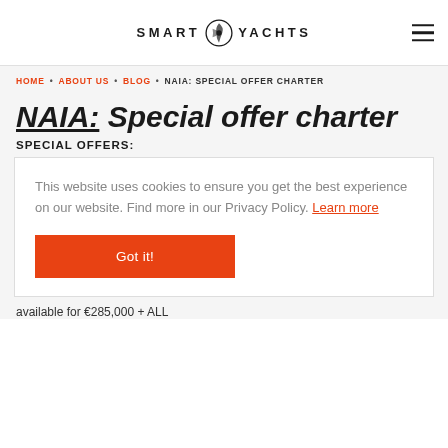SMART YACHTS
HOME • ABOUT US • BLOG • NAIA: SPECIAL OFFER CHARTER
NAIA: Special offer charter
SPECIAL OFFERS:
This website uses cookies to ensure you get the best experience on our website. Find more in our Privacy Policy. Learn more
Got it!
available for €285,000 + ALL